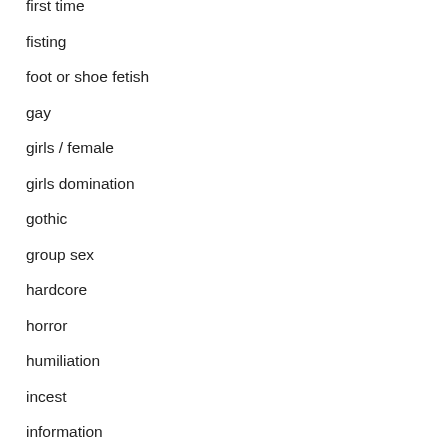first time
fisting
foot or shoe fetish
gay
girls / female
girls domination
gothic
group sex
hardcore
horror
humiliation
incest
information